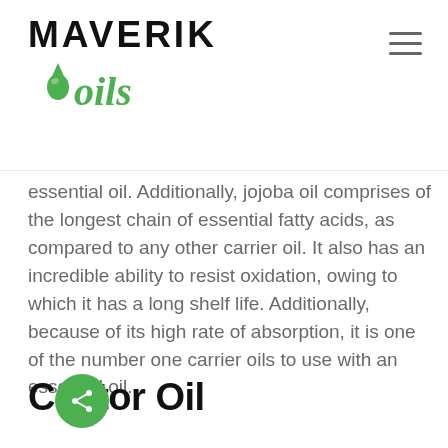MAVERIK Oils
essential oil. Additionally, jojoba oil comprises of the longest chain of essential fatty acids, as compared to any other carrier oil. It also has an incredible ability to resist oxidation, owing to which it has a long shelf life. Additionally, because of its high rate of absorption, it is one of the number one carrier oils to use with an essential oil.
Castor Oil